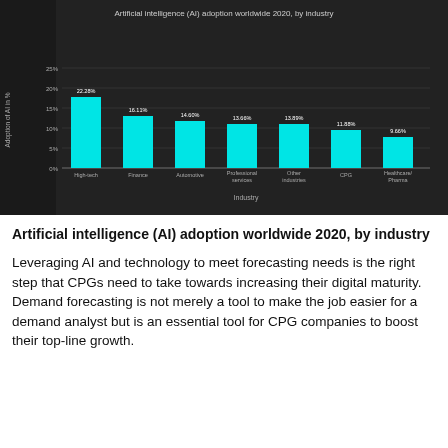[Figure (bar-chart): Artificial intelligence (AI) adoption worldwide 2020, by industry]
Artificial intelligence (AI) adoption worldwide 2020, by industry
Leveraging AI and technology to meet forecasting needs is the right step that CPGs need to take towards increasing their digital maturity. Demand forecasting is not merely a tool to make the job easier for a demand analyst but is an essential tool for CPG companies to boost their top-line growth.